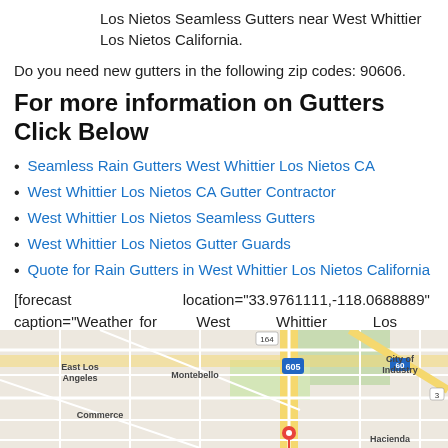Los Nietos Seamless Gutters near West Whittier Los Nietos California.
Do you need new gutters in the following zip codes: 90606.
For more information on Gutters Click Below
Seamless Rain Gutters West Whittier Los Nietos CA
West Whittier Los Nietos CA Gutter Contractor
West Whittier Los Nietos Seamless Gutters
West Whittier Los Nietos Gutter Guards
Quote for Rain Gutters in West Whittier Los Nietos California
[forecast location="33.9761111,-118.0688889" caption="Weather for West Whittier Los Nietos" measurement='F' todaylabel="Today" datelabel="date('m/d/Y')" highlow='%%high%%°/%%low%%°' numdays="5" iconset="Contemporary" class="css_table_class" cache="true" width="100%"]
[Figure (map): Map showing West Whittier Los Nietos area with East Los Angeles, Montebello, Commerce, City of Industry, Hacienda Heights, and highway 605 visible.]